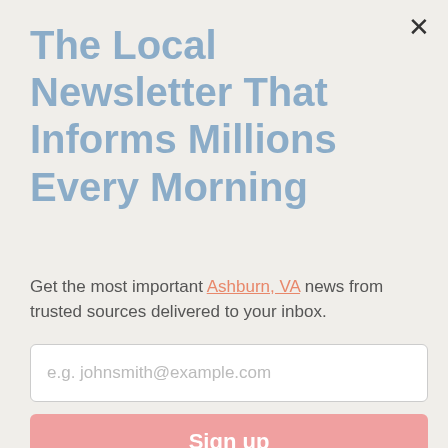The Local Newsletter That Informs Millions Every Morning
Get the most important Ashburn, VA news from trusted sources delivered to your inbox.
e.g. johnsmith@example.com
Sign up
[Figure (illustration): NewsBreak app promotional icon with megaphone and flag motif, watermarked]
Kevin James, born as Kevin George Knipfing, is an actor cum comedian who is famous for playing the character Doug Heffernan on the CBS sitcom 'The King of Queens'. Acting was never the initial